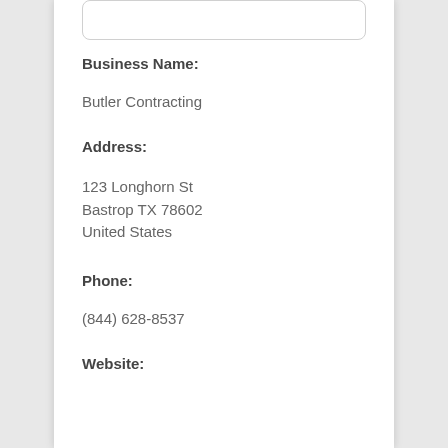Business Name:
Butler Contracting
Address:
123 Longhorn St
Bastrop TX 78602
United States
Phone:
(844) 628-8537
Website: